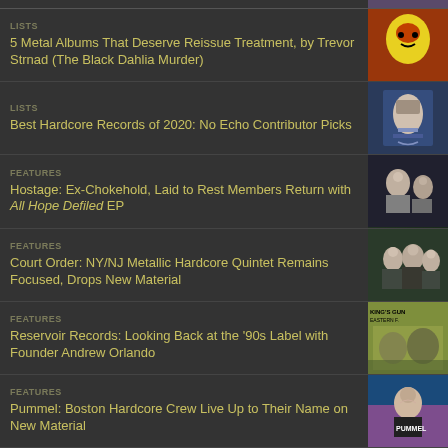LISTS
5 Metal Albums That Deserve Reissue Treatment, by Trevor Strnad (The Black Dahlia Murder)
LISTS
Best Hardcore Records of 2020: No Echo Contributor Picks
FEATURES
Hostage: Ex-Chokehold, Laid to Rest Members Return with All Hope Defiled EP
FEATURES
Court Order: NY/NJ Metallic Hardcore Quintet Remains Focused, Drops New Material
FEATURES
Reservoir Records: Looking Back at the '90s Label with Founder Andrew Orlando
FEATURES
Pummel: Boston Hardcore Crew Live Up to Their Name on New Material